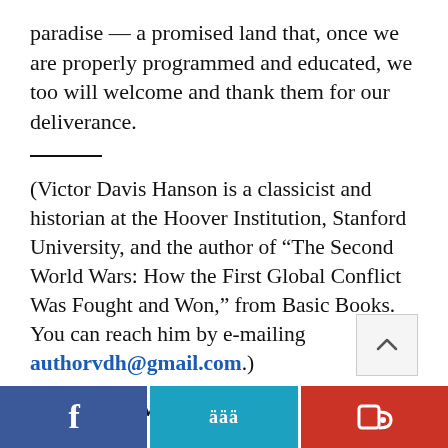paradise — a promised land that, once we are properly programmed and educated, we too will welcome and thank them for our deliverance.
(Victor Davis Hanson is a classicist and historian at the Hoover Institution, Stanford University, and the author of “The Second World Wars: How the First Global Conflict Was Fought and Won,” from Basic Books. You can reach him by e-mailing authorvdh@gmail.com.)
Spread the word:
[Figure (other): Social sharing buttons: Facebook (blue), Twitter (teal), and a third social network (red)]